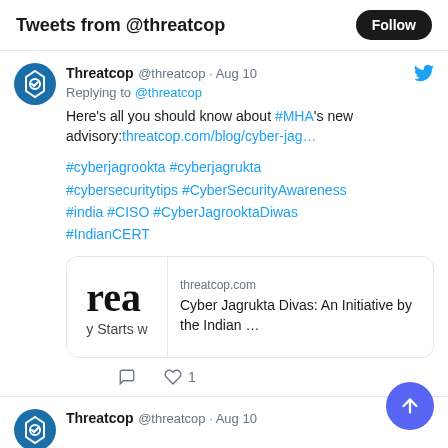Tweets from @threatcop
Threatcop @threatcop · Aug 10
Replying to @threatcop
Here's all you should know about #MHA's new advisory:threatcop.com/blog/cyber-jag…

#cyberjagrookta #cyberjagrukta #cybersecuritytips #CyberSecurityAwareness #india #CISO #CyberJagrooktaDiwas #IndianCERT
[Figure (screenshot): Link card preview showing 'rea y Starts w' text on left thumbnail and 'threatcop.com / Cyber Jagrukta Divas: An Initiative by the Indian ...' on the right]
Threatcop @threatcop · Aug 10
In a proactive approach, the Ministry of Home Affairs has recently launched an